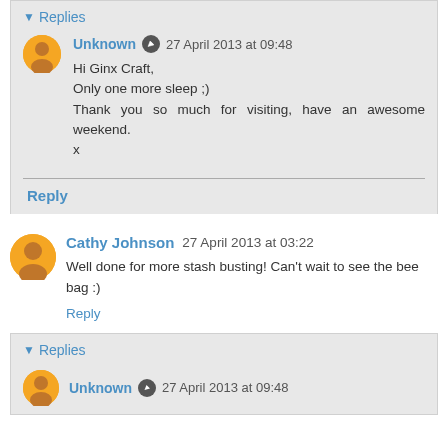Replies
Unknown  27 April 2013 at 09:48
Hi Ginx Craft,
Only one more sleep ;)
Thank you so much for visiting, have an awesome weekend.
x
Reply
Cathy Johnson  27 April 2013 at 03:22
Well done for more stash busting! Can't wait to see the bee bag :)
Reply
Replies
Unknown  27 April 2013 at 09:48